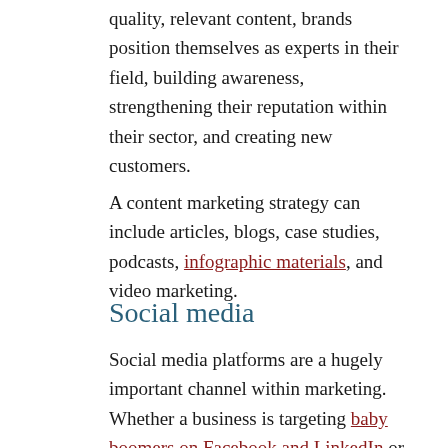quality, relevant content, brands position themselves as experts in their field, building awareness, strengthening their reputation within their sector, and creating new customers.
A content marketing strategy can include articles, blogs, case studies, podcasts, infographic materials, and video marketing.
Social media
Social media platforms are a hugely important channel within marketing. Whether a business is targeting baby boomers on Facebook and LinkedIn or Gen Z on TikTok, social media is